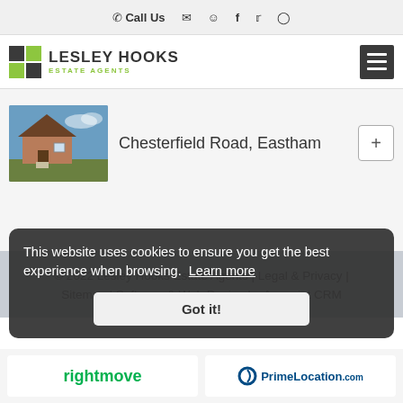Call Us
[Figure (logo): Lesley Hooks Estate Agents logo with green and dark grey grid squares]
Chesterfield Road, Eastham
[Figure (photo): Thumbnail photo of a house on Chesterfield Road, Eastham]
© 2022 Lesley Hooks Estate Agents | Legal & Privacy | Sitemap | Software & Web Design by Acquaint CRM
This website uses cookies to ensure you get the best experience when browsing. Learn more
Got it!
[Figure (logo): Rightmove logo]
[Figure (logo): PrimeLocation.com logo]